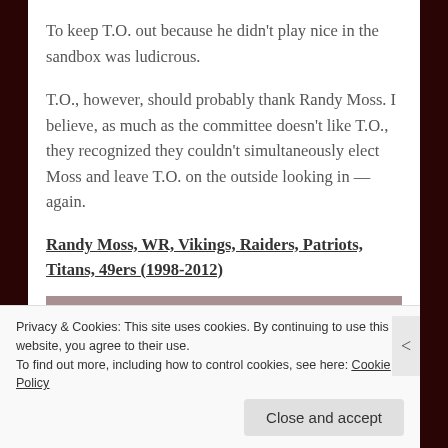To keep T.O. out because he didn't play nice in the sandbox was ludicrous.
T.O., however, should probably thank Randy Moss. I believe, as much as the committee doesn't like T.O., they recognized they couldn't simultaneously elect Moss and leave T.O. on the outside looking in — again.
Randy Moss, WR, Vikings, Raiders, Patriots, Titans, 49ers (1998-2012)
[Figure (photo): Partially visible image placeholder with brownish-gray color]
Privacy & Cookies: This site uses cookies. By continuing to use this website, you agree to their use.
To find out more, including how to control cookies, see here: Cookie Policy